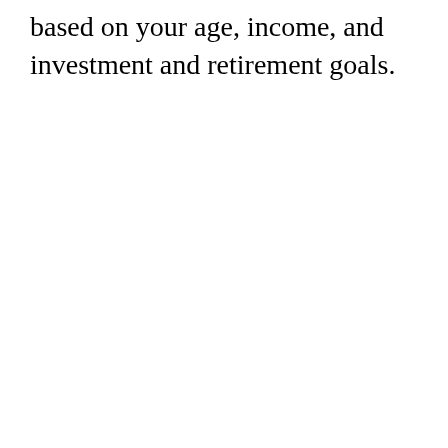based on your age, income, and investment and retirement goals.